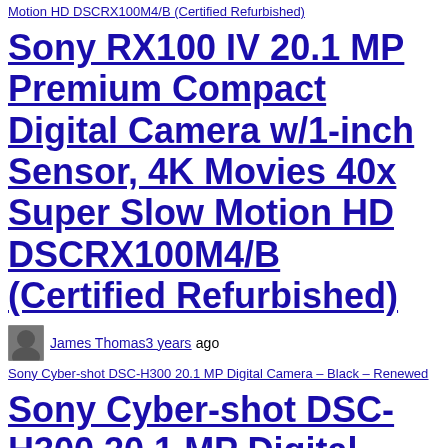Motion HD DSCRX100M4/B (Certified Refurbished)
Sony RX100 IV 20.1 MP Premium Compact Digital Camera w/1-inch Sensor, 4K Movies 40x Super Slow Motion HD DSCRX100M4/B (Certified Refurbished)
James Thomas3 years ago
[Figure (photo): Broken/placeholder image for Sony Cyber-shot DSC-H300 20.1 MP Digital Camera – Black – Renewed]
Sony Cyber-shot DSC-H300 20.1 MP Digital Camera – Black –